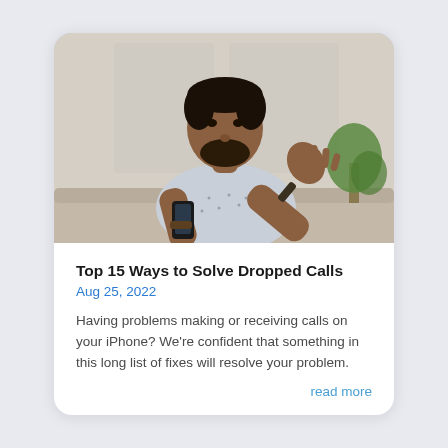[Figure (photo): A man sitting on a couch holding a smartphone in one hand and raising his other hand in a confused or frustrated gesture. He is wearing a light patterned button-up shirt and a watch. Background shows a light-colored wall and a plant.]
Top 15 Ways to Solve Dropped Calls
Aug 25, 2022
Having problems making or receiving calls on your iPhone? We're confident that something in this long list of fixes will resolve your problem.
read more